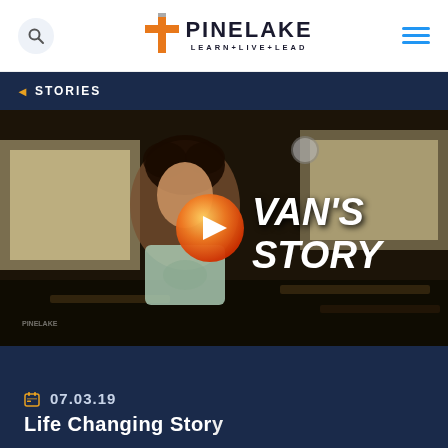[Figure (logo): Pinelake church logo with cross icon and tagline LEARN+LIVE+LEAD]
STORIES
[Figure (photo): A teenage boy sitting in a dark classroom with a play button overlay and the text VAN'S STORY]
07.03.19
Life Changing Story